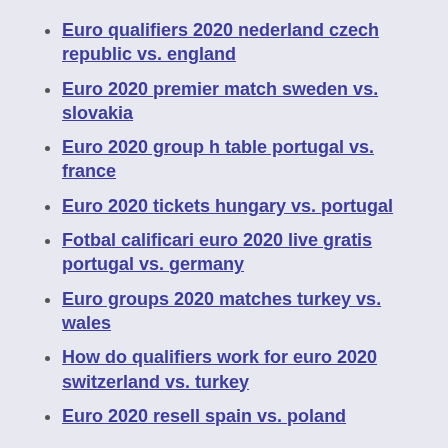Euro qualifiers 2020 nederland czech republic vs. england
Euro 2020 premier match sweden vs. slovakia
Euro 2020 group h table portugal vs. france
Euro 2020 tickets hungary vs. portugal
Fotbal calificari euro 2020 live gratis portugal vs. germany
Euro groups 2020 matches turkey vs. wales
How do qualifiers work for euro 2020 switzerland vs. turkey
Euro 2020 resell spain vs. poland
Euro 2020 Schedule: vs. Slovakia in St. Petersburg, June 14; vs. Spain in Seville, June 19; vs. Sweden in St.